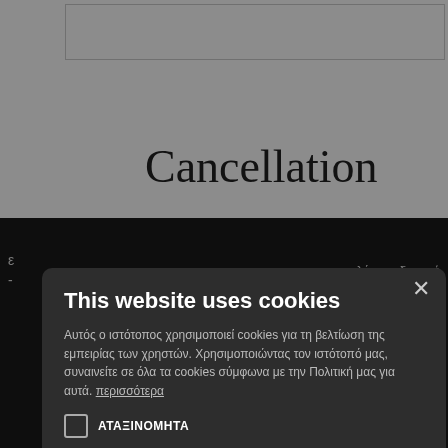[Figure (screenshot): Background webpage content showing 'Cancellation' heading partially visible, with a cookie consent modal dialog overlaid on a dark overlay. The modal has Greek text, accept/reject buttons, and a details option.]
This website uses cookies
Αυτός ο ιστότοπος χρησιμοποιεί cookies για τη βελτίωση της εμπειρίας των χρηστών. Χρησιμοποιώντας τον ιστότοπό μας, συναινείτε σε όλα τα cookies σύμφωνα με την Πολιτική μας για αυτά. περισσότερα
ΑΤΑΞΙΝΟΜΗΤΑ
ΑΠΟΔΟΧΉ ΌΛΩΝ
ΑΠΌΡΡΙΨΗ ΌΛΩΝ
ΛΕΠΤΟΜΈΡΕΙΕΣ